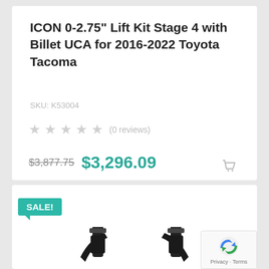ICON 0-2.75" Lift Kit Stage 4 with Billet UCA for 2016-2022 Toyota Tacoma
SKU: K53004
★★★★★ (0 reviews)
$3,877.75  $3,296.09
[Figure (photo): SALE! badge with product photo of ICON lift kit components including coilovers and upper control arms for Toyota Tacoma]